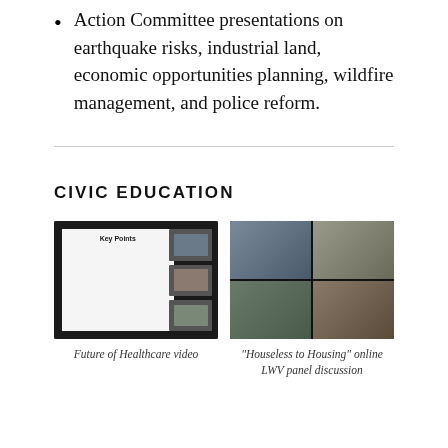Action Committee presentations on earthquake risks, industrial land, economic opportunities planning, wildfire management, and police reform.
CIVIC EDUCATION
[Figure (screenshot): Screenshot of a video conference showing a presentation slide titled 'Key Points' with bullet text and participant thumbnails on the right side.]
Future of Healthcare video
[Figure (screenshot): Screenshot of an online video panel discussion showing four participants in a 2x2 grid video call layout.]
“Houseless to Housing” online LWV panel discussion